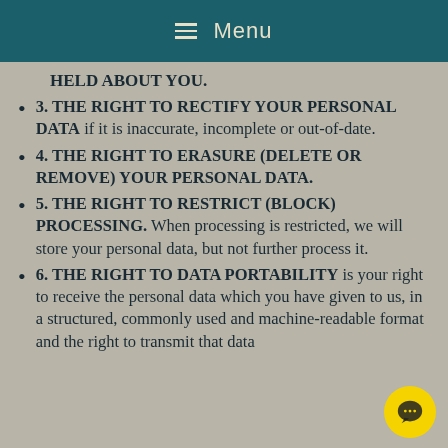≡ Menu
HELD ABOUT YOU.
3. THE RIGHT TO RECTIFY YOUR PERSONAL DATA if it is inaccurate, incomplete or out-of-date.
4. THE RIGHT TO ERASURE (DELETE OR REMOVE) YOUR PERSONAL DATA.
5. THE RIGHT TO RESTRICT (BLOCK) PROCESSING. When processing is restricted, we will store your personal data, but not further process it.
6. THE RIGHT TO DATA PORTABILITY is your right to receive the personal data which you have given to us, in a structured, commonly used and machine-readable format and the right to transmit that data